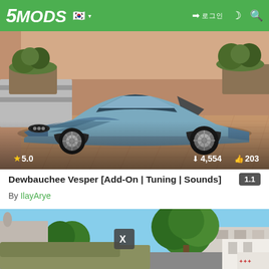5MODS navigation bar with logo, Korean flag, login button, dark mode, search
[Figure (screenshot): Screenshot of a blue Dewbauchee Vesper sports car mod preview image from GTA5-Mods.com, showing the car in a courtyard setting with rating 5.0, 4,554 downloads, 203 likes]
Dewbauchee Vesper [Add-On | Tuning | Sounds]
1.1
By IlayArye
[Figure (screenshot): Second mod preview image showing a street scene with trees and buildings, partially loaded with X button overlay]